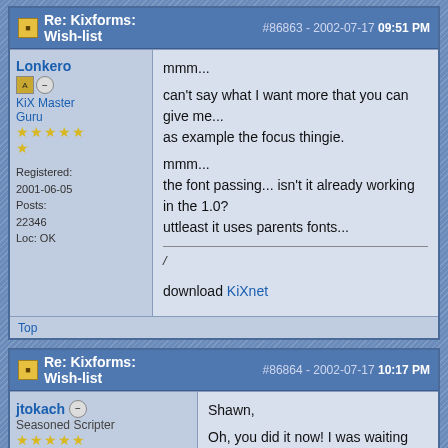Re: Kixforms: Wish-list  #86863 - 2002-07-17 09:51 PM
Lonkero
KiX Master Guru
★★★★★★
Registered: 2001-06-05
Posts: 22346
Loc: OK
mmm...
can't say what I want more that you can give me...
as example the focus thingie.

mmm...
the font passing... isn't it already working in the 1.0?
uttleast it uses parents fonts...

/

download KiXnet
Top
Re: Kixforms: Wish-list  #86864 - 2002-07-17 10:17 PM
jtokach
Seasoned Scripter
★★★★★
Shawn,

Oh, you did it now! I was waiting for this thread!
[Big Grin] [Big Grin]
[Big Grin]